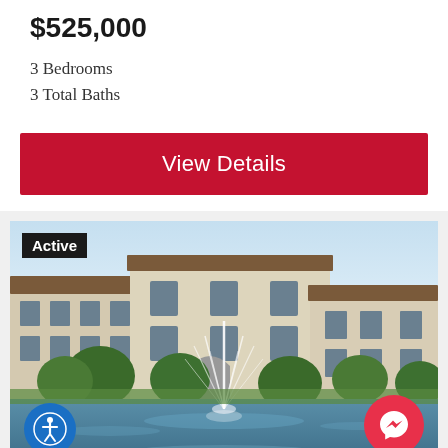$525,000
3 Bedrooms
3 Total Baths
View Details
[Figure (photo): Exterior photo of a multi-story residential apartment/condo building with Mediterranean-style architecture, featuring a large decorative fountain in a pond in the foreground, surrounded by trees and landscaping. An 'Active' badge appears in the top-left corner. Accessibility and Messenger buttons are overlaid at the bottom corners.]